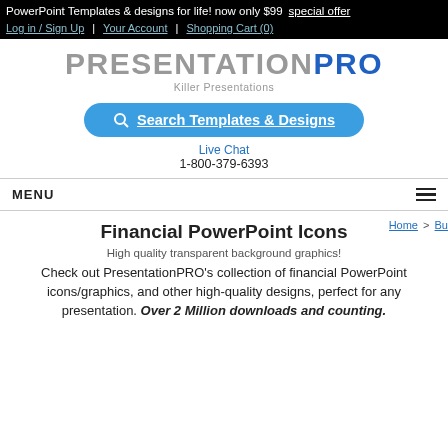PowerPoint Templates & designs for life! now only $99  special offer
Log in / Sign Up | Your Account | Shopping Cart (0)
[Figure (logo): PresentationPRO logo with tagline 'Killer Presentations']
Search Templates & Designs
Live Chat
1-800-379-6393
MENU
Financial PowerPoint Icons
Home > Bu...
High quality transparent background graphics!
Check out PresentationPRO's collection of financial PowerPoint icons/graphics, and other high-quality designs, perfect for any presentation. Over 2 Million downloads and counting.